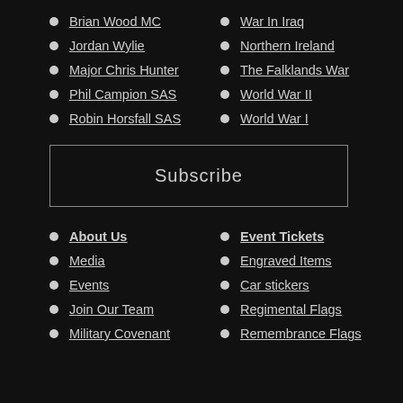Brian Wood MC
War In Iraq
Jordan Wylie
Northern Ireland
Major Chris Hunter
The Falklands War
Phil Campion SAS
World War II
Robin Horsfall SAS
World War I
Subscribe
About Us
Event Tickets
Media
Engraved Items
Events
Car stickers
Join Our Team
Regimental Flags
Military Covenant
Remembrance Flags